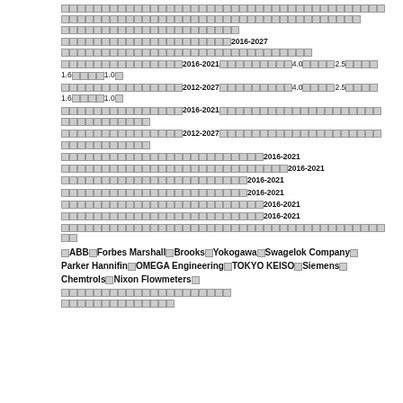□□□□□□□□□□□□□□□□□□□□□□□□□□□□□□□□□□□□□□□□□□□□□□□□□□□□□□□□□□□□□□□□□□□□□□□□□□□□□□□□□□□□□□□□□□□□□□□□□□□□□□□□□□□□□□□□□□□□□□□□□□□□□□□□□□□□□□□□□□□□□□□□□□□□□□□□□□□□□□□□□□□□□□□□□
□□□□□□□□□□□□□□□□□□□□□□□□□□□□□□□□□□□□□□□□□□□□□□□□□□□□□□□□□□□□□□□□□□□□□□□□□□□□□□□□□□□□□□□□□□□□□□□□□□□□□□□□□□□□□□□□□□□□□□□□□□□□□□□□□□□□□□□□□□□□□□□□□□□□□□□
□□□□□□□□□□□□□□□□□□□□2016-2027
□□□□□□□□□□□□□□□□□□□□□□□□□□□□□□□□□□□□□□□□□□□□□□□□□□□□□□□□□□□□□□□□□□□□□□□□□□□□□□□□□□□□□□□□□□□□□□□□□□□□□□□□□□□□□□□□□□□□□□□□□□□□□□□□□□□□□□□□□□□□□□□□□□□□□□□□□□□□□
□□□□□□□□□□□□□□□2016-2021□□□□□□□□□4.0□□□□2.5□□□□1.6□□□□1.0□
□□□□□□□□□□□□□□□2012-2027□□□□□□□□□4.0□□□□2.5□□□□1.6□□□□1.0□
□□□□□□□□□□□□□□□2016-2021□□□□□□□□□□□□□□□□□□□□□□□□□□□□□□□□□□□□□□□□□□□□□□□□□□□□□□□□□□□□□□□□□□□□□□□□□□□□□□□□□□□□□□□□□□□□□□□□□□□□□□□□□□□□□□□□□□□□□□□□□□□□
□□□□□□□□□□□□□□□2012-2027□□□□□□□□□□□□□□□□□□□□□□□□□□□□□□□□□□□□□□□□□□□□□□□□□□□□□□□□□□□□□□□□□□□□□□□□□□□□□□□□□□□□□□□□□□□□□□□□□□□□□□□□□□□□□□□□□□□□□□□□□□□□
□□□□□□□□□□□□□□□□□□□□□□□□□2016-2021
□□□□□□□□□□□□□□□□□□□□□□□□□□□□2016-2021
□□□□□□□□□□□□□□□□□□□□□□□2016-2021
□□□□□□□□□□□□□□□□□□□□□□□2016-2021
□□□□□□□□□□□□□□□□□□□□□□□□□2016-2021
□□□□□□□□□□□□□□□□□□□□□□□□□2016-2021
□□□□□□□□□□□□□□□□□□□□□□□□□□□□□□□□□□□□□□□□□□□□□□□□□□□□□□□□□□□□□□□□□□□□□□□□□□□□□□□□□□□□□□□□□□□□□□□□□□□□□□□□□□□□□□□□□□□□□□□□□□□□□□□□□□□□□□□□□□□□□□□□□□□□□□□□□□□□□
□ABB□Forbes Marshall□Brooks□Yokogawa□Swagelok Company□Parker Hannifin□OMEGA Engineering□TOKYO KEISO□Siemens□Chemtrols□Nixon Flowmeters□
□□□□□□□□□□□□□□□□□□□□□□□□□□□□□□□□□□□□□□□□□□□□□□□□□□□□□□□□□□□□□□□□□□□□□□□□□□□□□□□□□□□□□□□□□□□□□□□□□□□□□□□□□□□□□□□□□□□□□□□□□□□□□□□□□□□□□□□□□□□□□□□□□□□□□□□□□□□□□
□□□□□□□□□□□□□□□□□□□□□□□□□□□□□□□□□□□□□□□□□□□□□□□□□□□□□□□□□□□□□□□□□□□□□□□□□□□□□□□□□□□□□□□□□□□□□□□□□□□□□□□□□□□□□□□□□□□□□□□□□□□□□□□□□□□□□□□□□□□□□□□□□□□□□□□□□□□□□